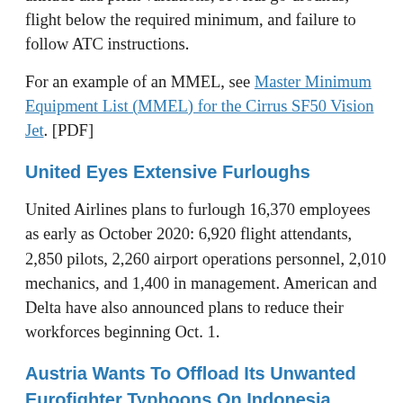altitude and pitch variations, several go-arounds, flight below the required minimum, and failure to follow ATC instructions.
For an example of an MMEL, see Master Minimum Equipment List (MMEL) for the Cirrus SF50 Vision Jet. [PDF]
United Eyes Extensive Furloughs
United Airlines plans to furlough 16,370 employees as early as October 2020: 6,920 flight attendants, 2,850 pilots, 2,260 airport operations personnel, 2,010 mechanics, and 1,400 in management. American and Delta have also announced plans to reduce their workforces beginning Oct. 1.
Austria Wants To Offload Its Unwanted Eurofighter Typhoons On Indonesia
The Austrian defense minister said she plans to hold talks